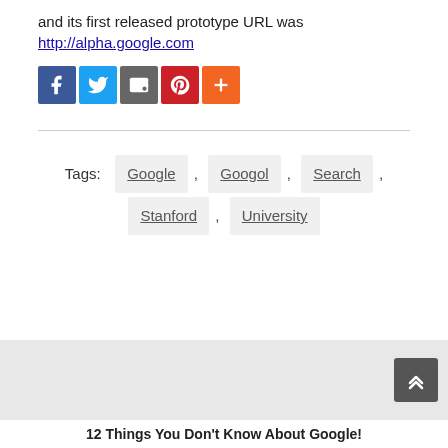and its first released prototype URL was
http://alpha.google.com
[Figure (infographic): Row of social sharing buttons: Facebook (blue), Twitter (light blue), Email/Share (gray), Pinterest (red), More/Plus (orange)]
Tags: Google , Googol , Search , Stanford , University